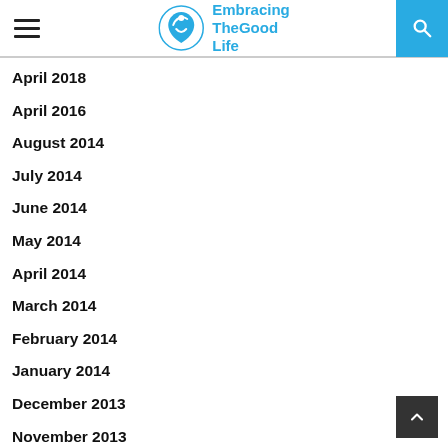Embracing TheGood Life
April 2018
April 2016
August 2014
July 2014
June 2014
May 2014
April 2014
March 2014
February 2014
January 2014
December 2013
November 2013
October 2013
September 2013